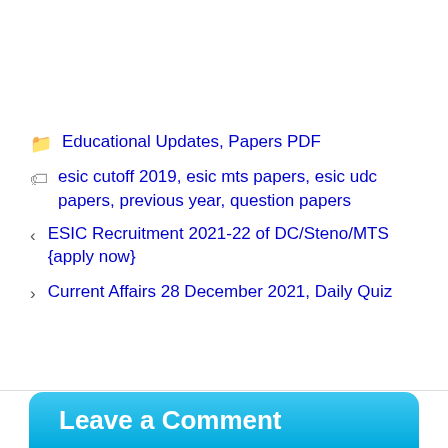Educational Updates, Papers PDF
esic cutoff 2019, esic mts papers, esic udc papers, previous year, question papers
ESIC Recruitment 2021-22 of DC/Steno/MTS {apply now}
Current Affairs 28 December 2021, Daily Quiz
Leave a Comment